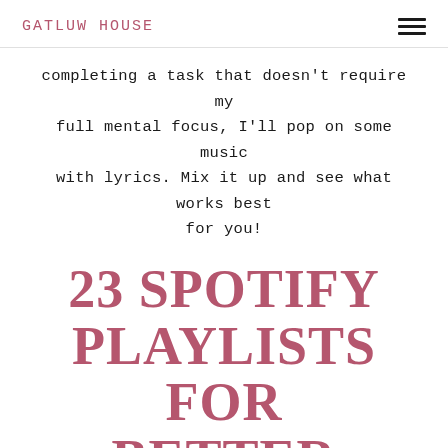GATLUW HOUSE
completing a task that doesn't require my full mental focus, I'll pop on some music with lyrics. Mix it up and see what works best for you!
23 SPOTIFY PLAYLISTS FOR BETTER FOCUS
Playlists for Power Hour